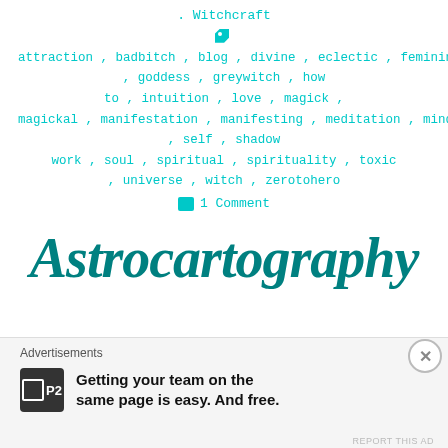. Witchcraft
attraction, badbitch, blog, divine, eclectic, feminine, goddess, greywitch, how to, intuition, love, magick, magickal, manifestation, manifesting, meditation, mindset, self, shadow work, soul, spiritual, spirituality, toxic, universe, witch, zerotohero
1 Comment
Astrocartography
[Figure (photo): Partial view of astrocartography map lines on white/tan background]
Advertisements
Getting your team on the same page is easy. And free.